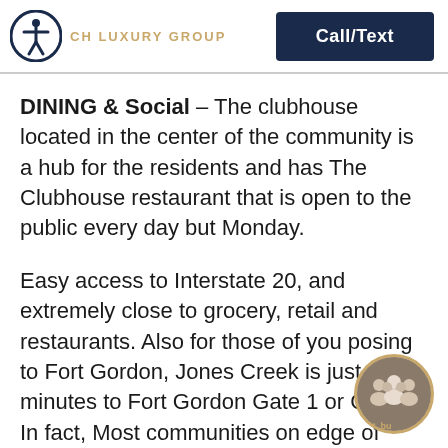CH LUXURY GROUP | Call/Text
DINING & Social – The clubhouse located in the center of the community is a hub for the residents and has The Clubhouse restaurant that is open to the public every day but Monday.
Easy access to Interstate 20, and extremely close to grocery, retail and restaurants. Also for those of you posing to Fort Gordon, Jones Creek is just minutes to Fort Gordon Gate 1 or Gate 2. In fact, Most communities on edge of Evans, GA can reach Fort Gordon Gate 1 or Gate 2 within about 20 minutes on
[Figure (photo): Circular chat button with photo of a group of people, labeled 'chat_bu']